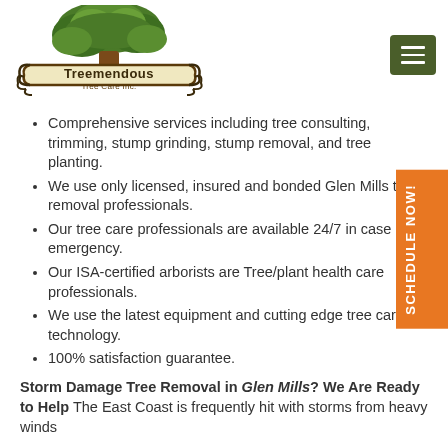[Figure (logo): Treemendous Tree Care Inc. logo with a large oak tree above a decorative sign bearing the company name]
Comprehensive services including tree consulting, trimming, stump grinding, stump removal, and tree planting.
We use only licensed, insured and bonded Glen Mills tree removal professionals.
Our tree care professionals are available 24/7 in case of emergency.
Our ISA-certified arborists are Tree/plant health care professionals.
We use the latest equipment and cutting edge tree care technology.
100% satisfaction guarantee.
Storm Damage Tree Removal in Glen Mills? We Are Ready to Help The East Coast is frequently hit with storms from heavy winds